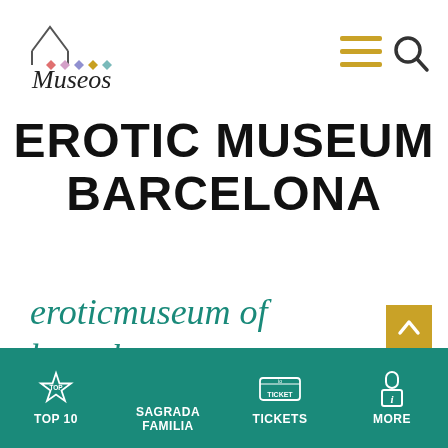[Figure (logo): Museos website logo with house/triangle icon and colored diamonds, handwritten 'Museos' text]
[Figure (illustration): Hamburger menu icon (three horizontal golden lines) and search magnifying glass icon]
EROTIC MUSEUM BARCELONA
eroticmuseum of barcelona
[Figure (illustration): Back to top button: gold square with upward chevron arrow]
[Figure (infographic): Bottom navigation bar with teal background containing four items: star icon TOP 10, SAGRADA FAMILIA, ticket icon TICKETS, info icon MORE]